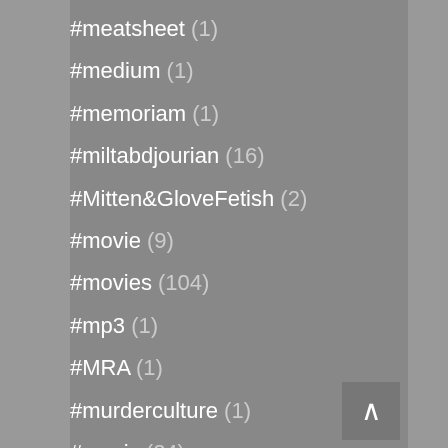#meatsheet (1)
#medium (1)
#memoriam (1)
#miltabdjourian (16)
#Mitten&GloveFetish (2)
#movie (9)
#movies (104)
#mp3 (1)
#MRA (1)
#murderculture (1)
#music (24)
#NaturalMan (3)
#nature (2)
#NBC (1)
#Netflix (25)